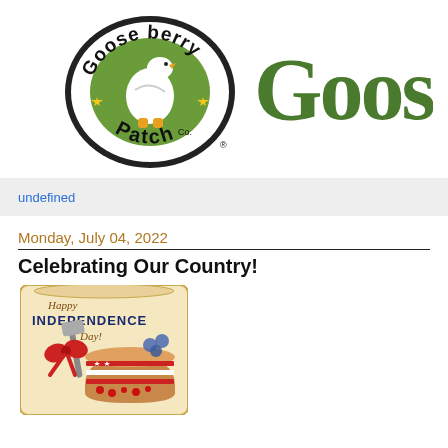[Figure (logo): Gooseberry Patch logo: circular badge with goose, stars, and brand name, plus large green 'Goos' text to the right]
undefined
Monday, July 04, 2022
Celebrating Our Country!
[Figure (illustration): Happy Independence Day illustration with pie, red bow, spatula, and patriotic decorations]